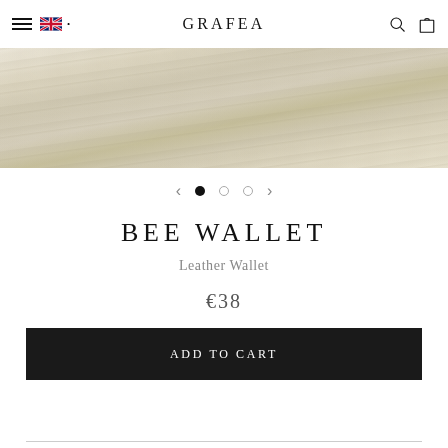GRAFEA
[Figure (photo): Close-up of a light-coloured wood texture surface, beige/grey tones with grain lines, forming the product background image]
BEE WALLET
Leather Wallet
€38
ADD TO CART